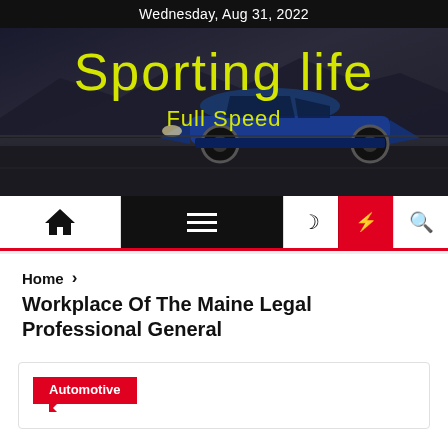Wednesday, Aug 31, 2022
[Figure (illustration): Hero banner with dark background showing a blue sports car (Dodge Charger) on a racetrack, with mountain silhouette in background. Yellow-green text reads 'Sporting life' and 'Full Speed'.]
Sporting life
Full Speed
Home > Workplace Of The Maine Legal Professional General
Workplace Of The Maine Legal Professional General
Automotive